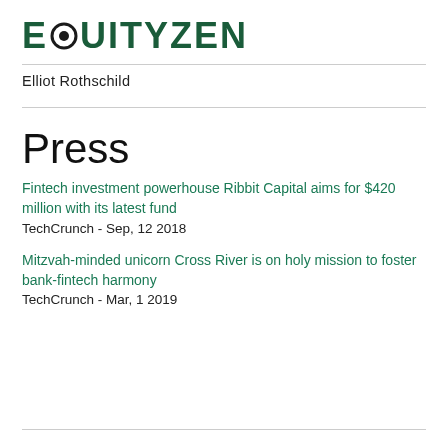EQUITYZEN
Elliot Rothschild
Press
Fintech investment powerhouse Ribbit Capital aims for $420 million with its latest fund
TechCrunch - Sep, 12 2018
Mitzvah-minded unicorn Cross River is on holy mission to foster bank-fintech harmony
TechCrunch - Mar, 1 2019